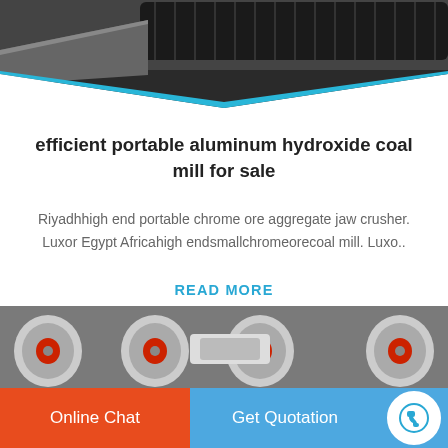[Figure (photo): Industrial crawler/track machinery photographed from above on a metal surface]
efficient portable aluminum hydroxide coal mill for sale
Riyadhhigh end portable chrome ore aggregate jaw crusher. Luxor Egypt Africahigh endsmallchromeorecoal mill. Luxo..
READ MORE
[Figure (photo): Industrial heavy machinery with large red and grey wheels/rollers in a workshop]
Online Chat
Get Quotation